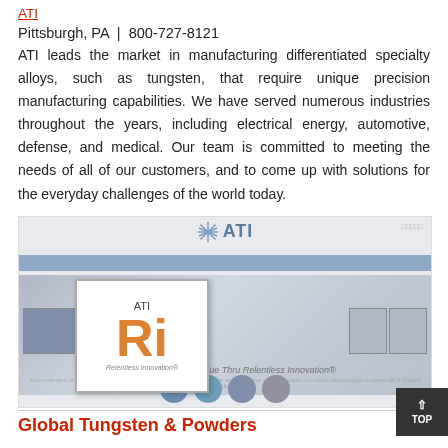ATI
Pittsburgh, PA | 800-727-8121
ATI leads the market in manufacturing differentiated specialty alloys, such as tungsten, that require unique precision manufacturing capabilities. We have served numerous industries throughout the years, including electrical energy, automotive, defense, and medical. Our team is committed to meeting the needs of all of our customers, and to come up with solutions for the everyday challenges of the world today.
[Figure (screenshot): Screenshot of the ATI website showing the ATI logo with a snowflake/asterisk symbol, a blue navigation bar, a periodic-table-style hero image with 'ATI Ri Relentless Innovation' element card in the center, surrounded by element symbols (Ni, Fe, Ti, Zr, Nb, Ca, Hf, Ta), thumbnail images of industries, the tagline 'Creating Long-Term Value Thru Relentless Innovation', and circular navigation icons at the bottom.]
Global Tungsten & Powders